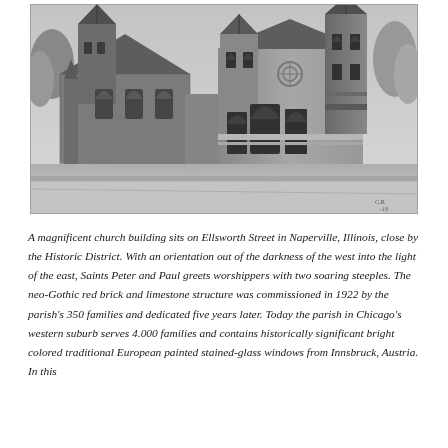[Figure (photo): Black and white historical photograph of a neo-Gothic church building (Saints Peter and Paul) on Ellsworth Street in Naperville, Illinois, showing two steeples, red brick and limestone facade with Gothic arched windows and ornate stonework, taken from street level.]
A magnificent church building sits on Ellsworth Street in Naperville, Illinois, close by the Historic District. With an orientation out of the darkness of the west into the light of the east, Saints Peter and Paul greets worshippers with two soaring steeples. The neo-Gothic red brick and limestone structure was commissioned in 1922 by the parish's 350 families and dedicated five years later. Today the parish in Chicago's western suburb serves 4.000 families and contains historically significant bright colored traditional European painted stained-glass windows from Innsbruck, Austria. In this